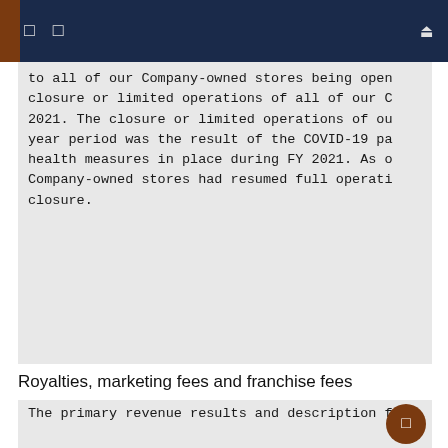to all of our Company-owned stores being open closure or limited operations of all of our C 2021. The closure or limited operations of ou year period was the result of the COVID-19 pa health measures in place during FY 2021. As o Company-owned stores had resumed full operati closure.
Royalties, marketing fees and franchise fees
The primary revenue results and description f